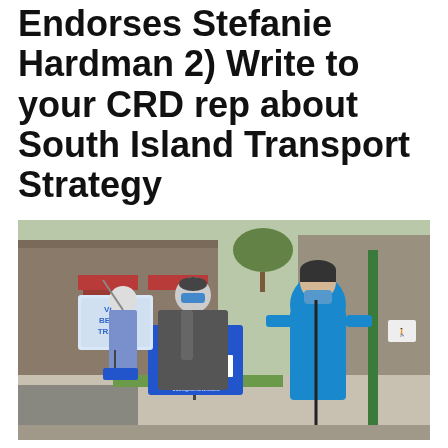Endorses Stefanie Hardman 2) Write to your CRD rep about South Island Transport Strategy
[Figure (photo): Outdoor scene showing people holding campaign signs on a sidewalk. One person wears a bright blue jacket and a blue mask. Signs read 'VOTE BETTER TRANSIT' and 'VOTE STEFANIE HARDMAN for Victoria City Council' with a website www.togetherforvictoria.ca. Buildings and a green lamp post are visible in the background.]